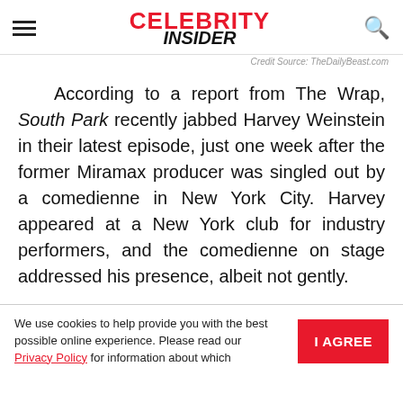CELEBRITY INSIDER
Credit Source: TheDailyBeast.com
According to a report from The Wrap, South Park recently jabbed Harvey Weinstein in their latest episode, just one week after the former Miramax producer was singled out by a comedienne in New York City. Harvey appeared at a New York club for industry performers, and the comedienne on stage addressed his presence, albeit not gently.
We use cookies to help provide you with the best possible online experience. Please read our Privacy Policy for information about which